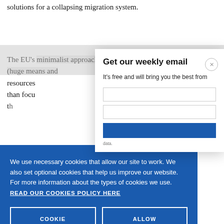solutions for a collapsing migration system.
The EU's minimalist approach (huge means and resources... than focu... th...
We use necessary cookies that allow our site to work. We also set optional cookies that help us improve our website. For more information about the types of cookies we use. READ OUR COOKIES POLICY HERE
COOKIE SETTINGS
ALLOW ALL COOKIES
Get our weekly email
It's free and will bring you the best from
data.
first is fin